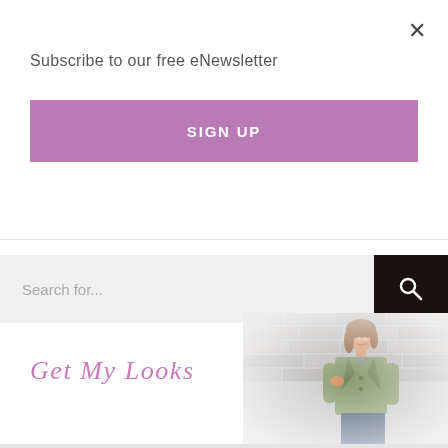×
Subscribe to our free eNewsletter
SIGN UP
Search for...
Get My Looks
[Figure (photo): Woman smiling, wearing an olive/khaki utility jacket over a plaid shirt, standing in front of a grey brick wall. Image has a faded/vignette edge effect.]